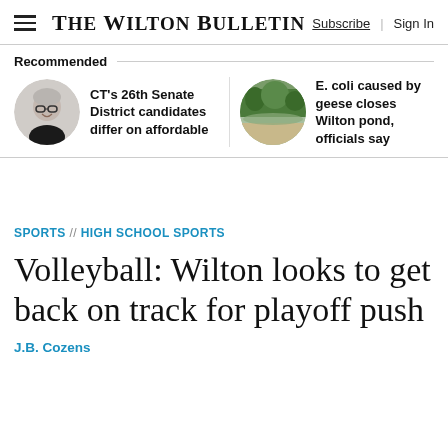The Wilton Bulletin | Subscribe | Sign In
Recommended
[Figure (photo): Circular portrait photo of a woman with short gray hair and glasses, smiling]
CT's 26th Senate District candidates differ on affordable
[Figure (photo): Circular photo of a pond or lake with trees in background]
E. coli caused by geese closes Wilton pond, officials say
SPORTS // HIGH SCHOOL SPORTS
Volleyball: Wilton looks to get back on track for playoff push
J.B. Cozens